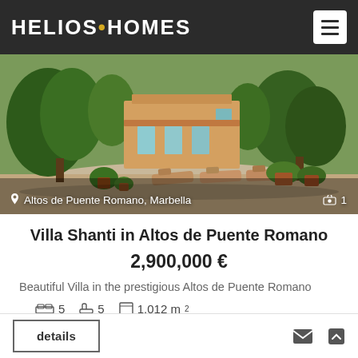HELIOS•HOMES
[Figure (photo): Exterior photo of Villa Shanti showing a terrace with sun loungers, lush garden with tall trees, potted plants, and the villa building in the background. Location overlay reads 'Altos de Puente Romano, Marbella' with a camera icon and '1'.]
Villa Shanti in Altos de Puente Romano
2,900,000 €
Beautiful Villa in the prestigious Altos de Puente Romano
🛏 5  🛁 5  ⊡ 1,012 m²
details